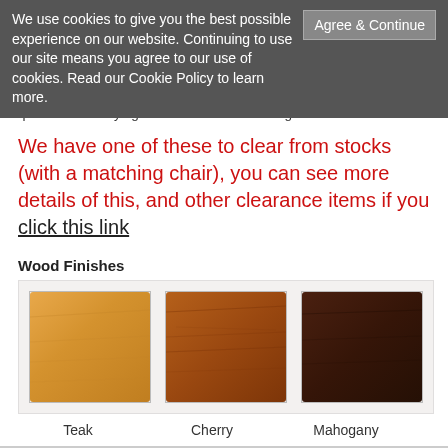We use cookies to give you the best possible experience on our website. Continuing to use our site means you agree to our use of cookies. Read our Cookie Policy to learn more.
quite useful for tying the colours of a room together.
We have one of these to clear from stocks (with a matching chair), you can see more details of this, and other clearance items if you click this link
Wood Finishes
[Figure (illustration): Three wood finish swatches labeled Teak (light orange-brown), Cherry (medium reddish-brown), and Mahogany (dark brown)]
Teak   Cherry   Mahogany
Been offered better? Let us know and we'll see what we can do.